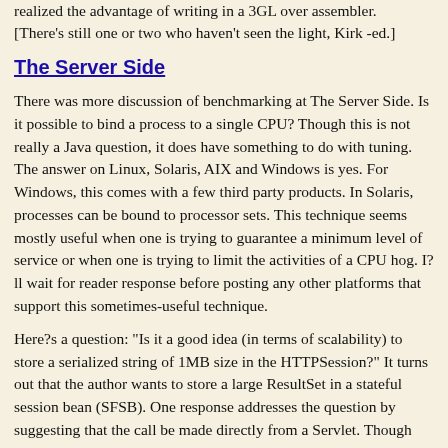realized the advantage of writing in a 3GL over assembler. [There's still one or two who haven't seen the light, Kirk -ed.]
The Server Side
There was more discussion of benchmarking at The Server Side. Is it possible to bind a process to a single CPU? Though this is not really a Java question, it does have something to do with tuning. The answer on Linux, Solaris, AIX and Windows is yes. For Windows, this comes with a few third party products. In Solaris, processes can be bound to processor sets. This technique seems mostly useful when one is trying to guarantee a minimum level of service or when one is trying to limit the activities of a CPU hog. I?ll wait for reader response before posting any other platforms that support this sometimes-useful technique.
Here?s a question: "Is it a good idea (in terms of scalability) to store a serialized string of 1MB size in the HTTPSession?" It turns out that the author wants to store a large ResultSet in a stateful session bean (SFSB). One response addresses the question by suggesting that the call be made directly from a Servlet. Though this would shorten the distance between the client and the source, I?m not sure if it would really be enough to overcome the potential performance problems. This does seem to lend itself to a cursor-like Entity bean solution. In the solution, the query is conducted in